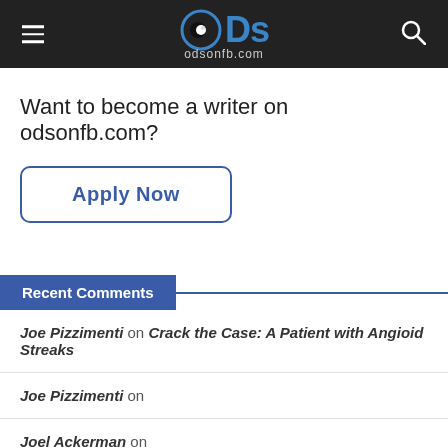ODs odsonfb.com
Want to become a writer on odsonfb.com?
Apply Now
Recent Comments
Joe Pizzimenti on Crack the Case: A Patient with Angioid Streaks
Joe Pizzimenti on
Joel Ackerman on